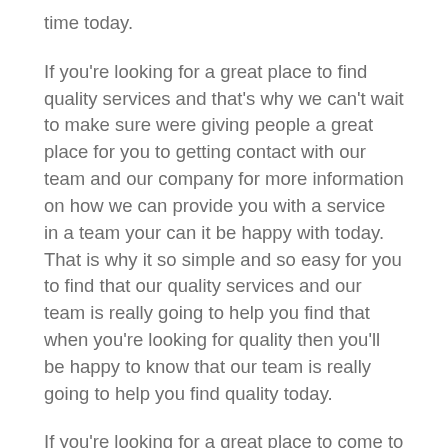time today.
If you're looking for a great place to find quality services and that's why we can't wait to make sure were giving people a great place for you to getting contact with our team and our company for more information on how we can provide you with a service in a team your can it be happy with today. That is why it so simple and so easy for you to find that our quality services and our team is really going to help you find that when you're looking for quality then you'll be happy to know that our team is really going to help you find quality today.
If you're looking for a great place to come to that's really going to help you save time and save money then you'll be happy to know how were giving you the next option you'll be happy with today. So when you're looking for quality then don't waste anymore time because were giving you the best and top